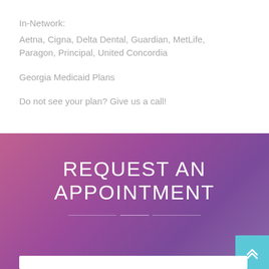In-Network:
Aetna, Cigna, Delta Dental, Guardian, MetLife, Paragon, Principal, United Concordia
Georgia Medicaid Plans
Do not see your plan? Give us a call!
REQUEST AN APPOINTMENT